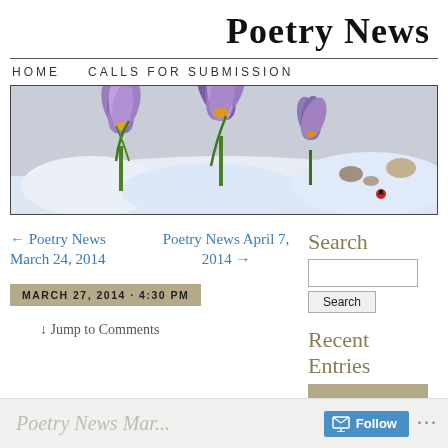Poetry News
HOME   CALLS FOR SUBMISSION
[Figure (photo): Banner photo of purple crocus flowers blooming through snow]
← Poetry News March 24, 2014
Poetry News April 7, 2014 →
MARCH 27, 2014 · 4:30 PM
↓ Jump to Comments
Search
Recent Entries
Poetry News Mar...   Follow   ...